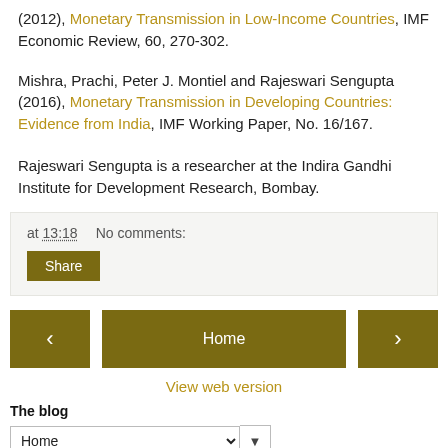(2012), Monetary Transmission in Low-Income Countries, IMF Economic Review, 60, 270-302.
Mishra, Prachi, Peter J. Montiel and Rajeswari Sengupta (2016), Monetary Transmission in Developing Countries: Evidence from India, IMF Working Paper, No. 16/167.
Rajeswari Sengupta is a researcher at the Indira Gandhi Institute for Development Research, Bombay.
at 13:18   No comments:
Share
Home
View web version
The blog
Home